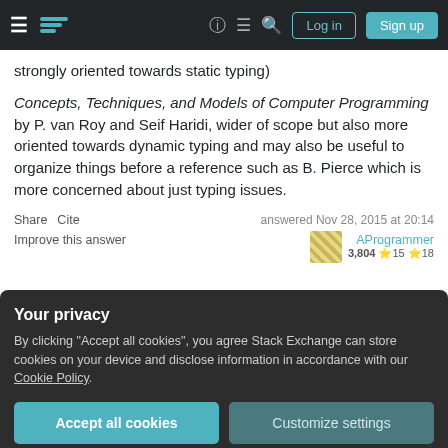Stack Exchange navigation bar with hamburger menu, logo, help, chat, search icons, Log in and Sign up buttons
strongly oriented towards static typing)
Concepts, Techniques, and Models of Computer Programming by P. van Roy and Seif Haridi, wider of scope but also more oriented towards dynamic typing and may also be useful to organize things before a reference such as B. Pierce which is more concerned about just typing issues.
Share  Cite
Improve this answer
answered Nov 28, 2015 at 20:14
AProgrammer
3,804  15  18
Your privacy
By clicking "Accept all cookies", you agree Stack Exchange can store cookies on your device and disclose information in accordance with our Cookie Policy.
Accept all cookies   Customize settings